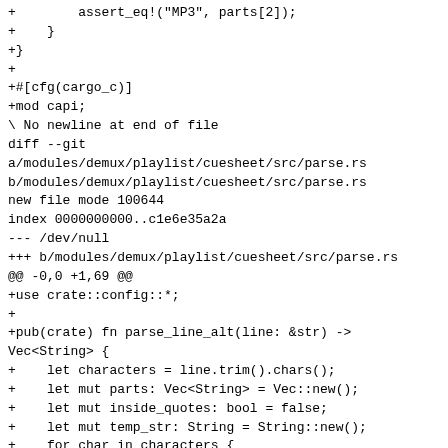+        assert_eq!("MP3", parts[2]);
+    }
+}
+
+#[cfg(cargo_c)]
+mod capi;
\ No newline at end of file
diff --git
a/modules/demux/playlist/cuesheet/src/parse.rs
b/modules/demux/playlist/cuesheet/src/parse.rs
new file mode 100644
index 0000000000..c1e6e35a2a
--- /dev/null
+++ b/modules/demux/playlist/cuesheet/src/parse.rs
@@ -0,0 +1,69 @@
+use crate::config::*;
+
+pub(crate) fn parse_line_alt(line: &str) ->
Vec<String> {
+    let characters = line.trim().chars();
+    let mut parts: Vec<String> = Vec::new();
+    let mut inside_quotes: bool = false;
+    let mut temp_str: String = String::new();
+    for char in characters {
+        if char == '"' {
+            inside_quotes = !inside_quotes;
+        } else if inside_quotes {
+            temp_str.push(char);
+        } else if char.is_whitespace() {
+            parts.push(temp_str.clone());